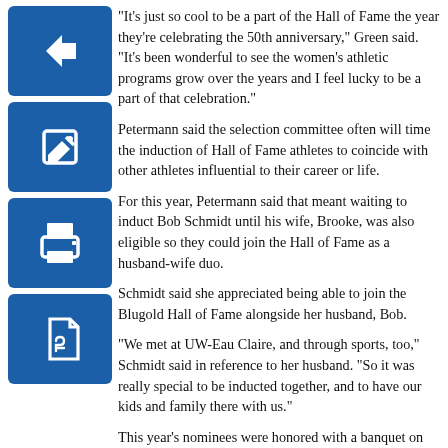[Figure (illustration): Blue square icon with white left-pointing arrow (back navigation button)]
[Figure (illustration): Blue square icon with white pencil/edit symbol]
[Figure (illustration): Blue square icon with white printer symbol]
[Figure (illustration): Blue square icon with white PDF/document symbol]
“It’s just so cool to be a part of the Hall of Fame the year they’re celebrating the 50th anniversary,” Green said. “It’s been wonderful to see the women’s athletic programs grow over the years and I feel lucky to be a part of that celebration.”
Petermann said the selection committee often will time the induction of Hall of Fame athletes to coincide with other athletes influential to their career or life.
For this year, Petermann said that meant waiting to induct Bob Schmidt until his wife, Brooke, was also eligible so they could join the Hall of Fame as a husband-wife duo.
Schmidt said she appreciated being able to join the Blugold Hall of Fame alongside her husband, Bob.
“We met at UW-Eau Claire, and through sports, too,” Schmidt said in reference to her husband. “So it was really special to be inducted together, and to have our kids and family there with us.”
This year’s nominees were honored with a banquet on Oct. 15, followed by an introduction the next day at the homecoming game against UW-River Falls. The inductees also participated in the homecoming parade that day.